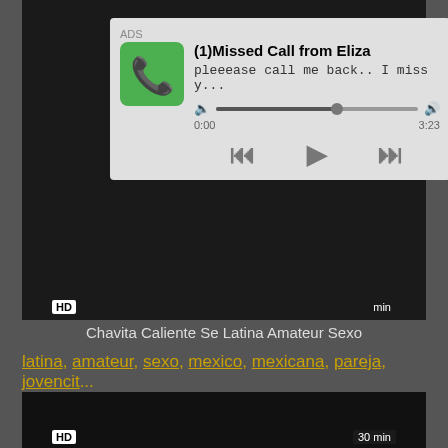[Figure (screenshot): Ad overlay showing missed call notification with phone icon, progress bar, and playback controls over a dark video thumbnail. Text: ADS, (1)Missed Call from Eliza, pleeease call me back.. I miss y..., 0:00, 3:23]
Chavita Caliente Se Latina Amateur Sexo
latina, amateur, sexo, mexico, mexicana, pareja, jovencit...
[Figure (screenshot): Dark video thumbnail with HD badge and 30 min duration label]